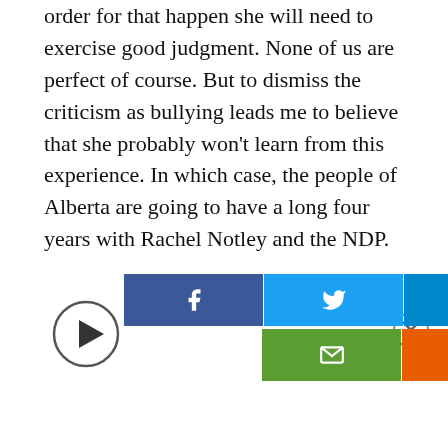order for that happen she will need to exercise good judgment. None of us are perfect of course. But to dismiss the criticism as bullying leads me to believe that she probably won't learn from this experience. In which case, the people of Alberta are going to have a long four years with Rachel Notley and the NDP.
[Figure (other): Social sharing buttons: Facebook, Twitter, Telegram, Email (green), Print (orange); a circular play button on the left; a close (X) button on the right.]